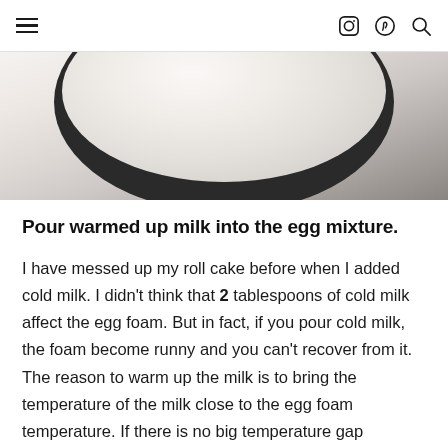≡  [instagram] [pinterest] [search]
[Figure (photo): Close-up top-down view of a dark bowl filled with white whipped cream or egg foam mixture, on a dark surface.]
Pour warmed up milk into the egg mixture.
I have messed up my roll cake before when I added cold milk. I didn't think that 2 tablespoons of cold milk affect the egg foam. But in fact, if you pour cold milk, the foam become runny and you can't recover from it. The reason to warm up the milk is to bring the temperature of the milk close to the egg foam temperature. If there is no big temperature gap